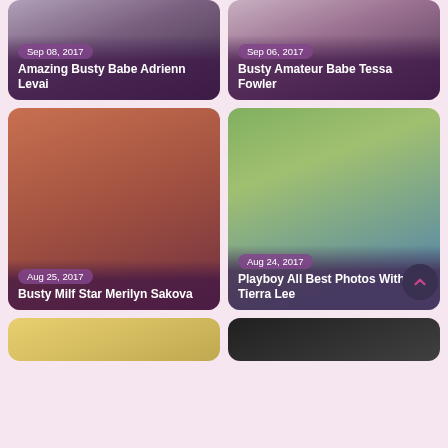[Figure (photo): Card: Sep 08, 2017 - Amazing Busty Babe Adrienn Levai]
[Figure (photo): Card: Sep 06, 2017 - Busty Amateur Babe Tessa Fowler]
[Figure (photo): Card: Aug 25, 2017 - Busty Milf Star Merilyn Sakova]
[Figure (photo): Card: Aug 24, 2017 - Playboy All Best Photos With Tierra Lee]
[Figure (photo): Thumbnail card bottom left]
[Figure (photo): Thumbnail card bottom right]